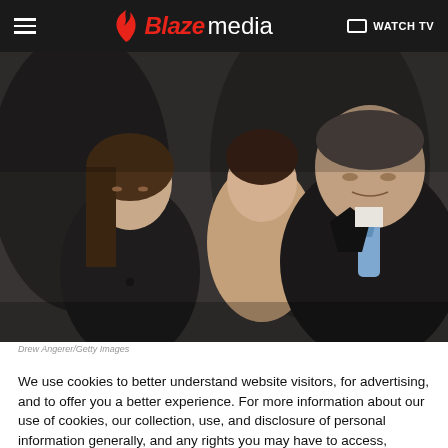Blaze Media — WATCH TV
[Figure (photo): Three people walking outdoors in dark winter coats. A man on the right wearing a blue tie and dark suit looks at the camera with a serious expression. Two women are beside him, one in front looking down and one behind looking forward. Appears to be Michael Cohen with family members.]
Drew Angerer/Getty Images
We use cookies to better understand website visitors, for advertising, and to offer you a better experience. For more information about our use of cookies, our collection, use, and disclosure of personal information generally, and any rights you may have to access, delete, or opt out of the sale of your personal information, please view our Privacy Policy.
Learn more   CLOSE